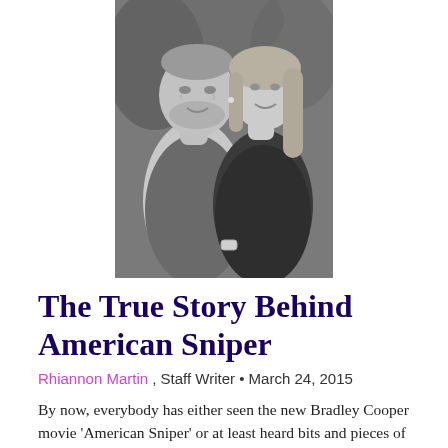[Figure (photo): Black and white photograph of a smiling couple; a man with a beard wearing a polo shirt and a woman with long hair wearing a dark top]
The True Story Behind American Sniper
Rhiannon Martin , Staff Writer • March 24, 2015
By now, everybody has either seen the new Bradley Cooper movie 'American Sniper' or at least heard bits and pieces of the